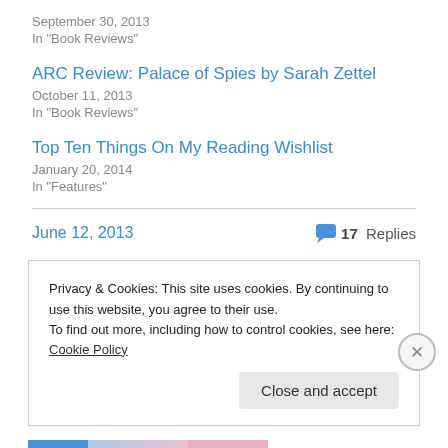September 30, 2013
In "Book Reviews"
ARC Review: Palace of Spies by Sarah Zettel
October 11, 2013
In "Book Reviews"
Top Ten Things On My Reading Wishlist
January 20, 2014
In "Features"
June 12, 2013
17 Replies
Privacy & Cookies: This site uses cookies. By continuing to use this website, you agree to their use.
To find out more, including how to control cookies, see here: Cookie Policy
Close and accept